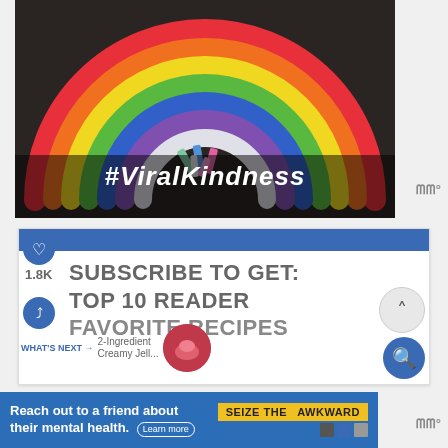[Figure (photo): Photo of a chalk rainbow drawn on dark asphalt/ground with chalk sticks placed in the center. Text overlay reads #ViralKindness in white bold italic font.]
1.8K
SUBSCRIBE TO GET: TOP 10 READER FAVORITE RECIPES
WHAT'S NEXT → 2-Ingredient Creamy Jell...
[Figure (photo): Small circular thumbnail of a pink/red dessert, likely jello.]
Reach out to a friend about their mental health. Learn more | SEIZE THE AWKWARD